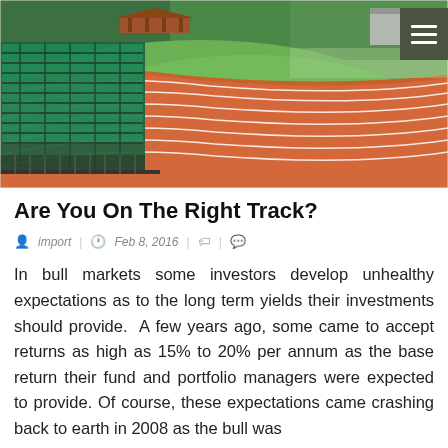[Figure (photo): Photograph of a red running track with green bleachers/stands on the left side, grass infield, and trees in the background. A menu icon (three horizontal bars) appears in the upper right corner on a dark olive/green background.]
Are You On The Right Track?
import | Feb 8, 2016 | |
In bull markets some investors develop unhealthy expectations as to the long term yields their investments should provide.  A few years ago, some came to accept returns as high as 15% to 20% per annum as the base return their fund and portfolio managers were expected to provide. Of course, these expectations came crashing back to earth in 2008 as the bull was